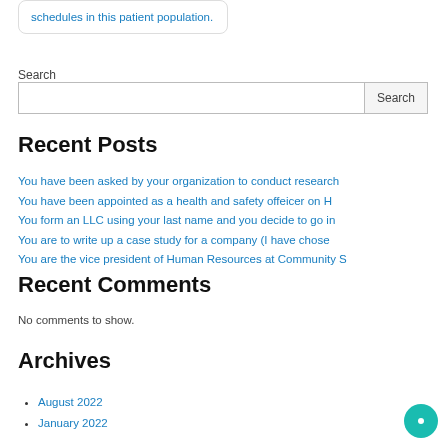schedules in this patient population.
Search
Recent Posts
You have been asked by your organization to conduct research
You have been appointed as a health and safety offeicer on H
You form an LLC using your last name and you decide to go in
You are to write up a case study for a company (I have chose
You are the vice president of Human Resources at Community S
Recent Comments
No comments to show.
Archives
August 2022
January 2022